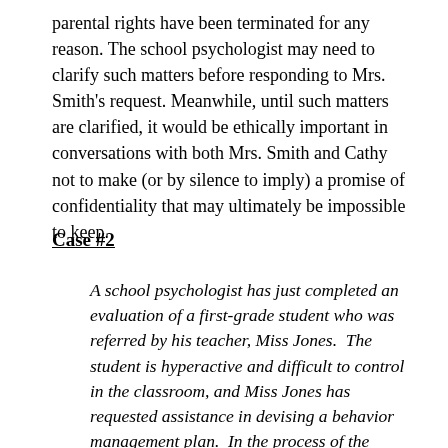parental rights have been terminated for any reason. The school psychologist may need to clarify such matters before responding to Mrs. Smith's request. Meanwhile, until such matters are clarified, it would be ethically important in conversations with both Mrs. Smith and Cathy not to make (or by silence to imply) a promise of confidentiality that may ultimately be impossible to keep.
Case #2
A school psychologist has just completed an evaluation of a first-grade student who was referred by his teacher, Miss Jones.  The student is hyperactive and difficult to control in the classroom, and Miss Jones has requested assistance in devising a behavior management plan.  In the process of the consultation, this new young teacher breaks down and confides to the school psychologist that she has just been